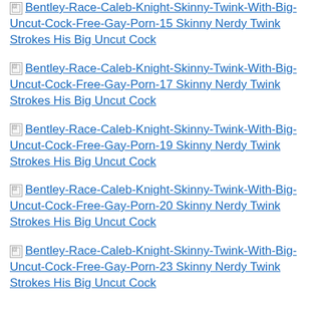Bentley-Race-Caleb-Knight-Skinny-Twink-With-Big-Uncut-Cock-Free-Gay-Porn-15 Skinny Nerdy Twink Strokes His Big Uncut Cock
Bentley-Race-Caleb-Knight-Skinny-Twink-With-Big-Uncut-Cock-Free-Gay-Porn-17 Skinny Nerdy Twink Strokes His Big Uncut Cock
Bentley-Race-Caleb-Knight-Skinny-Twink-With-Big-Uncut-Cock-Free-Gay-Porn-19 Skinny Nerdy Twink Strokes His Big Uncut Cock
Bentley-Race-Caleb-Knight-Skinny-Twink-With-Big-Uncut-Cock-Free-Gay-Porn-20 Skinny Nerdy Twink Strokes His Big Uncut Cock
Bentley-Race-Caleb-Knight-Skinny-Twink-With-Big-Uncut-Cock-Free-Gay-Porn-23 Skinny Nerdy Twink Strokes His Big Uncut Cock